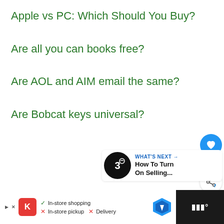Apple vs PC: Which Should You Buy?
Are all you can books free?
Are AOL and AIM email the same?
Are Bobcat keys universal?
[Figure (infographic): Social interaction buttons: heart/like button (blue circle with heart icon), like count '1', share button (white circle with share icon)]
[Figure (infographic): WHAT'S NEXT promotional card with circular logo and text 'How To Turn On Selling...']
[Figure (infographic): Advertisement bar: Kroger ad showing In-store shopping checkmark, In-store pickup X, Delivery X, with map icon and dark right panel]